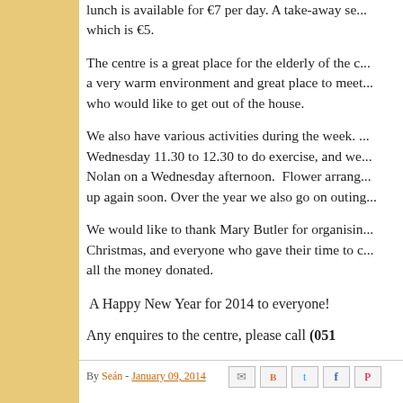lunch is available for €7 per day. A take-away se... which is €5.
The centre is a great place for the elderly of the c... a very warm environment and great place to meet... who would like to get out of the house.
We also have various activities during the week. ... Wednesday 11.30 to 12.30 to do exercise, and we... Nolan on a Wednesday afternoon. Flower arrang... up again soon. Over the year we also go on outing...
We would like to thank Mary Butler for organisin... Christmas, and everyone who gave their time to c... all the money donated.
A Happy New Year for 2014 to everyone!
Any enquires to the centre, please call (051...
By Seán - January 09, 2014